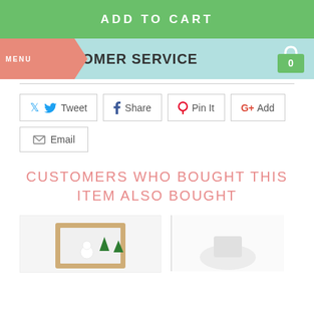ADD TO CART
MENU  STOMER SERVICE
[Figure (illustration): Green shopping bag icon with number 0]
Tweet
Share
Pin It
Add
Email
CUSTOMERS WHO BOUGHT THIS ITEM ALSO BOUGHT
[Figure (photo): Wooden picture frame with snowman and Christmas tree decorations]
[Figure (photo): Partial view of a product on white background]